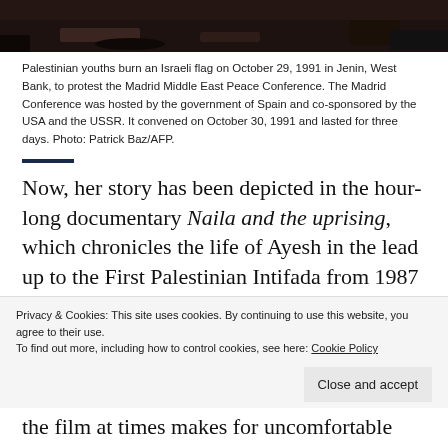[Figure (photo): Bottom portion of a photo showing Palestinian youths burning an Israeli flag, dark background with ground visible]
Palestinian youths burn an Israeli flag on October 29, 1991 in Jenin, West Bank, to protest the Madrid Middle East Peace Conference. The Madrid Conference was hosted by the government of Spain and co-sponsored by the USA and the USSR. It convened on October 30, 1991 and lasted for three days. Photo: Patrick Baz/AFP.
Now, her story has been depicted in the hour-long documentary Naila and the uprising, which chronicles the life of Ayesh in the lead up to the First Palestinian Intifada from 1987 to 1993, of
the film at times makes for uncomfortable